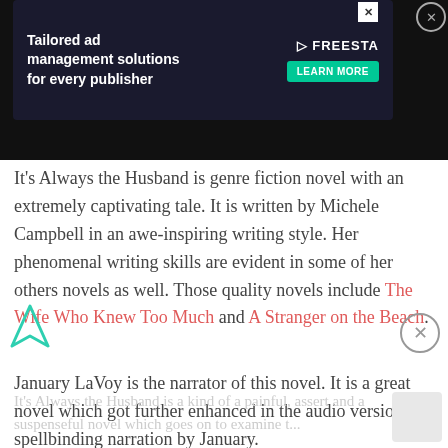[Figure (screenshot): Advertisement banner for Freestar ad management with dark background, illustration of person at computer, tagline 'Tailored ad management solutions for every publisher', and a 'LEARN MORE' button]
It’s Always the Husband is genre fiction novel with an extremely captivating tale. It is written by Michele Campbell in an awe-inspiring writing style. Her phenomenal writing skills are evident in some of her others novels as well. Those quality novels include The Wife Who Knew Too Much and A Stranger on the Beach.
January LaVoy is the narrator of this novel. It is a great novel which got further enhanced in the audio version by spellbinding narration by January.
It’s Always the Husband is a kind of a painful, assert and a suspenseful novel which goes on to examine t...